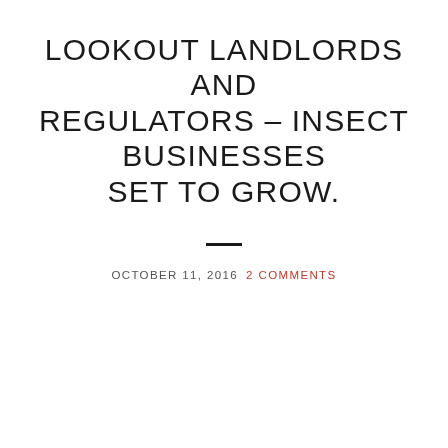LOOKOUT LANDLORDS AND REGULATORS – INSECT BUSINESSES SET TO GROW.
OCTOBER 11, 2016  2 COMMENTS